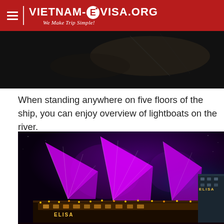VIETNAM-eVISA.ORG — We Make Trip Simple!
[Figure (photo): Dark nighttime photo, partial view of a ship or scene with dark background]
When standing anywhere on five floors of the ship, you can enjoy overview of lightboats on the river.
[Figure (photo): Nighttime photo of the Elisa cruise ship with glowing purple/magenta sails illuminated against a dark sky, ship hull lit with warm golden lights, 'ELISA' text visible on the hull]